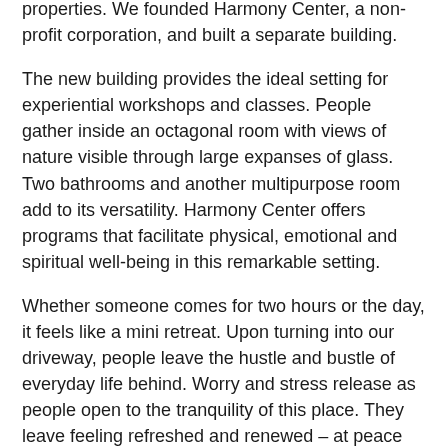properties. We founded Harmony Center, a non-profit corporation, and built a separate building.
The new building provides the ideal setting for experiential workshops and classes. People gather inside an octagonal room with views of nature visible through large expanses of glass. Two bathrooms and another multipurpose room add to its versatility. Harmony Center offers programs that facilitate physical, emotional and spiritual well-being in this remarkable setting.
Whether someone comes for two hours or the day, it feels like a mini retreat. Upon turning into our driveway, people leave the hustle and bustle of everyday life behind. Worry and stress release as people open to the tranquility of this place. They leave feeling refreshed and renewed – at peace with themselves, at one with the world.